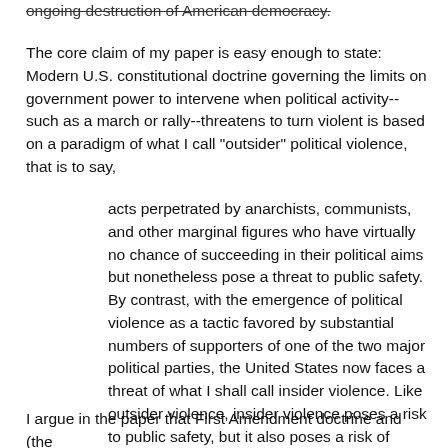ongoing destruction of American democracy.
The core claim of my paper is easy enough to state: Modern U.S. constitutional doctrine governing the limits on government power to intervene when political activity--such as a march or rally--threatens to turn violent is based on a paradigm of what I call "outsider" political violence, that is to say,
acts perpetrated by anarchists, communists, and other marginal figures who have virtually no chance of succeeding in their political aims but nonetheless pose a threat to public safety. By contrast, with the emergence of political violence as a tactic favored by substantial numbers of supporters of one of the two major political parties, the United States now faces a threat of what I shall call insider violence. Like outsider violence, insider violence poses a risk to public safety, but it also poses a risk of fatally undermining democracy.
I argue in the paper that First Amendment doctrine and (the